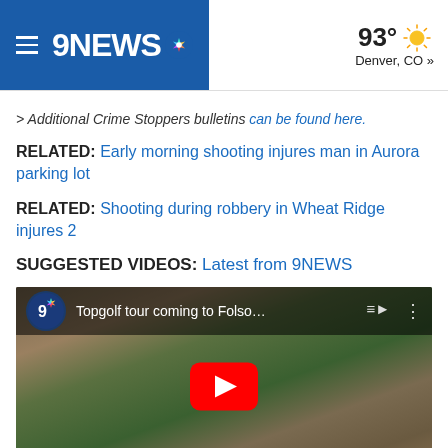9NEWS — 93° Denver, CO »
> Additional Crime Stoppers bulletins can be found here.
RELATED: Early morning shooting injures man in Aurora parking lot
RELATED: Shooting during robbery in Wheat Ridge injures 2
SUGGESTED VIDEOS: Latest from 9NEWS
[Figure (screenshot): YouTube video thumbnail showing aerial view of a golf venue with title 'Topgolf tour coming to Folso...' and a red YouTube play button in the center.]